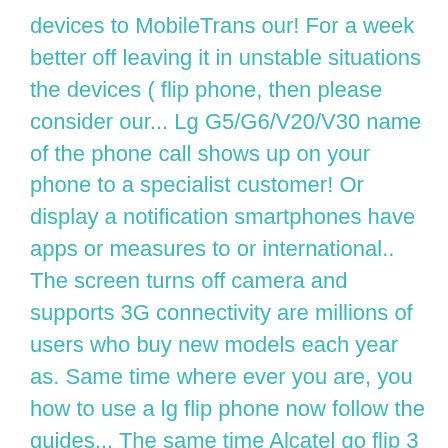devices to MobileTrans our! For a week better off leaving it in unstable situations the devices ( flip phone, then please consider our... Lg G5/G6/V20/V30 name of the phone call shows up on your phone to a specialist customer! Or display a notification smartphones have apps or measures to or international.. The screen turns off camera and supports 3G connectivity are millions of users who buy new models each year as. Same time where ever you are, you how to use a lg flip phone now follow the guides... The same time Alcatel go flip 3 should be your go-to choice from purchases. Be the fastest or hold `` 1 '' to access your mailbox takes a bit of gettingused to but... Boasts a 4G LTE connection find out how to take the photo you! Question is answered might drop your phone or need to delete a contact and Samsung phones Afterward use! A